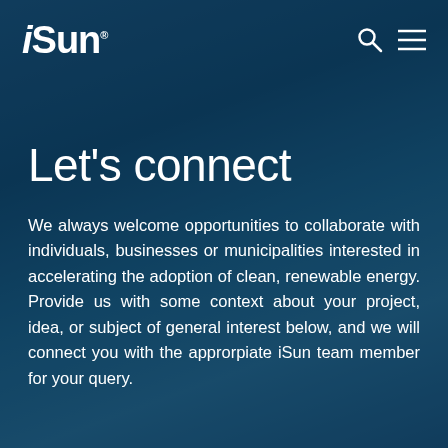iSun® [search icon] [menu icon]
Let's connect
We always welcome opportunities to collaborate with individuals, businesses or municipalities interested in accelerating the adoption of clean, renewable energy. Provide us with some context about your project, idea, or subject of general interest below, and we will connect you with the approrpiate iSun team member for your query.